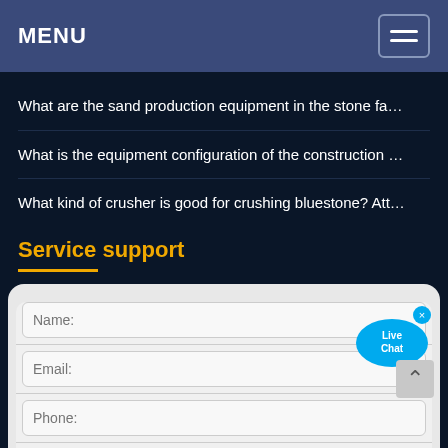MENU
What are the sand production equipment in the stone fa…
What is the equipment configuration of the construction …
What kind of crusher is good for crushing bluestone? Att…
[Figure (illustration): Live Chat speech bubble icon in blue with text 'Live Chat' and a small x close button in the top right corner]
Service support
Name: (form field)
Email: (form field)
Phone: (form field)
Message: (form textarea)